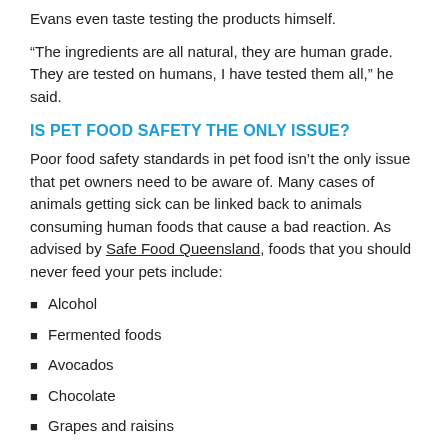Evans even taste testing the products himself.
“The ingredients are all natural, they are human grade. They are tested on humans, I have tested them all,” he said.
IS PET FOOD SAFETY THE ONLY ISSUE?
Poor food safety standards in pet food isn’t the only issue that pet owners need to be aware of. Many cases of animals getting sick can be linked back to animals consuming human foods that cause a bad reaction. As advised by Safe Food Queensland, foods that you should never feed your pets include:
Alcohol
Fermented foods
Avocados
Chocolate
Grapes and raisins
Macadamia nuts